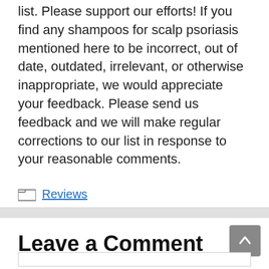list. Please support our efforts! If you find any shampoos for scalp psoriasis mentioned here to be incorrect, out of date, outdated, irrelevant, or otherwise inappropriate, we would appreciate your feedback. Please send us feedback and we will make regular corrections to our list in response to your reasonable comments.
Reviews
Leave a Comment